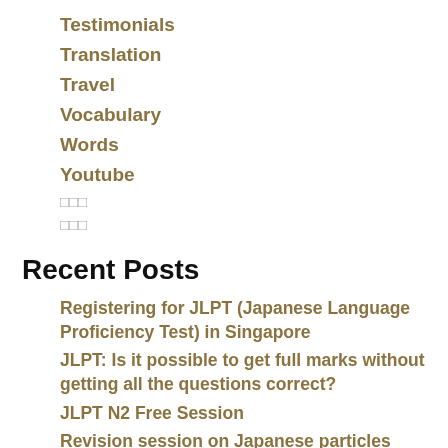Testimonials
Translation
Travel
Vocabulary
Words
Youtube
□□□
□□□
Recent Posts
Registering for JLPT (Japanese Language Proficiency Test) in Singapore
JLPT: Is it possible to get full marks without getting all the questions correct?
JLPT N2 Free Session
Revision session on Japanese particles